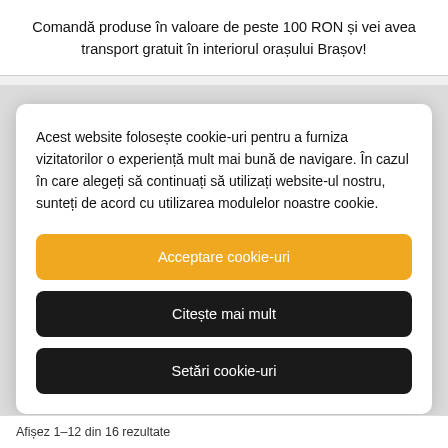Comandă produse în valoare de peste 100 RON și vei avea transport gratuit în interiorul orașului Brașov!
Acest website folosește cookie-uri pentru a furniza vizitatorilor o experiență mult mai bună de navigare. În cazul în care alegeți să continuați să utilizați website-ul nostru, sunteți de acord cu utilizarea modulelor noastre cookie.
Acceptare cookie-uri
Citește mai mult
Setări cookie-uri
Afișez 1–12 din 16 rezultate